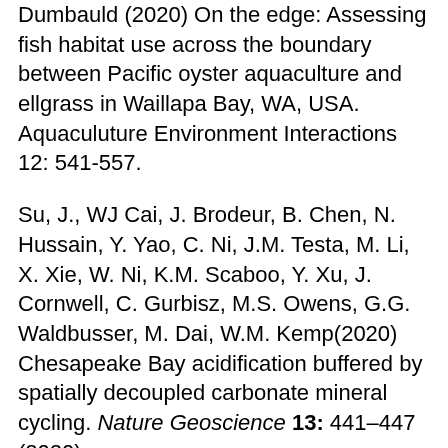Dumbauld (2020) On the edge: Assessing fish habitat use across the boundary between Pacific oyster aquaculture and ellgrass in Waillapa Bay, WA, USA. Aquaculuture Environment Interactions 12: 541-557.
Su, J., WJ Cai, J. Brodeur, B. Chen, N. Hussain, Y. Yao, C. Ni, J.M. Testa, M. Li, X. Xie, W. Ni, K.M. Scaboo, Y. Xu, J. Cornwell, C. Gurbisz, M.S. Owens, G.G. Waldbusser, M. Dai, W.M. Kemp(2020) Chesapeake Bay acidification buffered by spatially decoupled carbonate mineral cycling. Nature Geoscience 13: 441–447 (2020).
Waldbusser, G.G. (2019) Ocean acidification primer and introduction to special issue. Journal of Shellfish Research 38: 707-710.